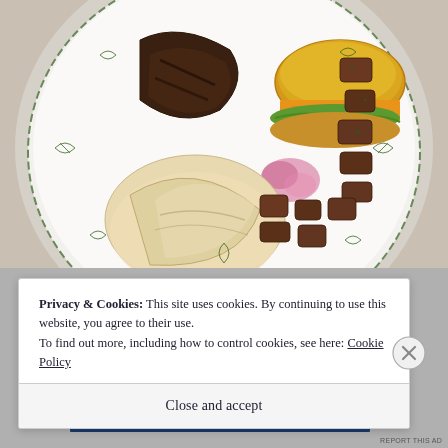[Figure (photo): A white plate decorated with green leaf/botanical border pattern, holding a cheeseburger with lettuce and orange cheese on a bun, grilled meat, flat pita bread pieces, and several pieces of browned/grilled sausage or meat chunks. The plate sits on a granite countertop.]
Privacy & Cookies: This site uses cookies. By continuing to use this website, you agree to their use.
To find out more, including how to control cookies, see here: Cookie Policy
Close and accept